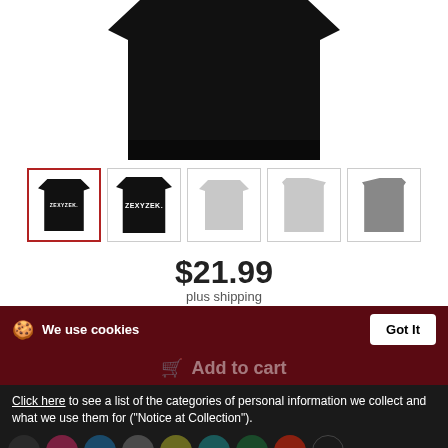[Figure (photo): Black t-shirt main product image, cropped showing lower portion of shirt]
[Figure (photo): Row of 5 product thumbnails: black t-shirt front with ZEXYZEK text, black t-shirt back with ZEXYZEK text, gray t-shirt front, gray t-shirt left side, gray t-shirt right side]
$21.99
plus shipping
We use cookies
Got It
Add to cart
Click here to see a list of the categories of personal information we collect and what we use them for ("Notice at Collection").
Privacy Policy
Do Not Sell My Personal Information
By using this website, I agree to the Terms and Conditions